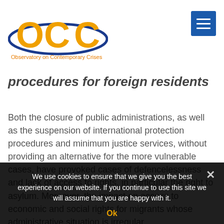[Figure (logo): OCC Observatory on Contemporary Crises logo with orange letters and blue ellipse]
procedures for foreign residents
Both the closure of public administrations, as well as the suspension of international protection procedures and minimum justice services, without providing an alternative for the more vulnerable cases, have provoked cases of defencelessness and lack of access to rights, in particular the right to asylum. Moreover, the impact on access to economic and social rights for migrants whose administrative situation is irregular,
We use cookies to ensure that we give you the best experience on our website. If you continue to use this site we will assume that you are happy with it.
Ok